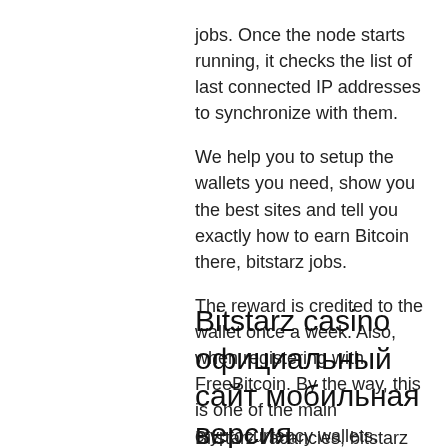jobs. Once the node starts running, it checks the list of last connected IP addresses to synchronize with them.
We help you to setup the wallets you need, show you the best sites and tell you exactly how to earn Bitcoin there, bitstarz jobs.
The reward is credited to the wallet once a week. Also, when registering with FreeBitcoin. By the way, this is one of the main cryptocurrency wallets. Bonus Bitcoin is actually several different bitcoin-faucets on one site, by the way, the oldest of faucets, bitstarz jobs. After registering on the site, you can choose any of the proposed list of faucets.
Bitstarz casino официальный сайт мобильная версия
Bitstarz vacancies, bitstarz bonus code no